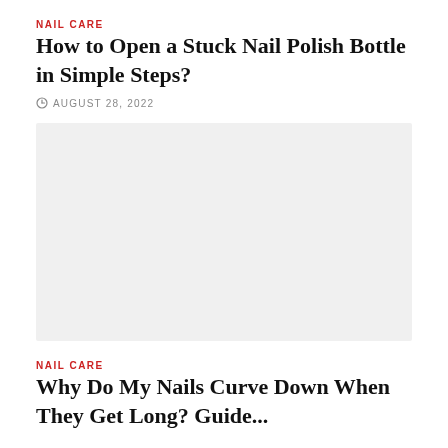NAIL CARE
How to Open a Stuck Nail Polish Bottle in Simple Steps?
AUGUST 28, 2022
[Figure (photo): Large placeholder image area, light gray background]
NAIL CARE
Why Do My Nails Curve Down When They Get Long? Guide...